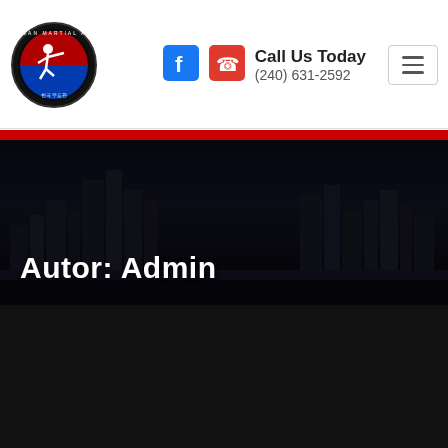[Figure (logo): Korean Martial Arts circular logo with kicking figure, red/blue colors, Korean text, dark border]
[Figure (logo): Facebook icon - blue F square logo]
[Figure (logo): Phone icon - red square with phone handset]
Call Us Today
(240) 631-2592
[Figure (illustration): Hamburger menu button with three horizontal lines]
[Figure (photo): Dark cityscape/skyline photo with tall buildings against a moody blue-dark sky]
Autor: Admin
Admin  •  Sin categoría  •  1
¡Hola, mundo!
Bienvenido a WordPress. Esta es tu primera entrada. Edítala o bórrala, ¡luego empieza a escribir!
Read More +
27 de abril de 2022